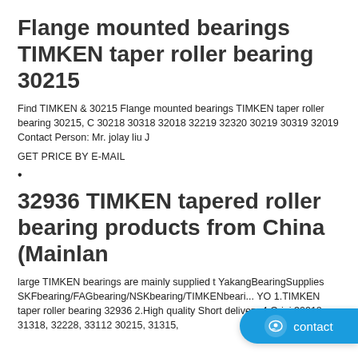Flange mounted bearings TIMKEN taper roller bearing 30215
Find TIMKEN & 30215 Flange mounted bearings TIMKEN taper roller bearing 30215, C 30218 30318 32018 32219 32320 30219 30319 32019 Contact Person: Mr. jolay liu J
GET PRICE BY E-MAIL
•
32936 TIMKEN tapered roller bearing products from China (Mainlan
large TIMKEN bearings are mainly supplied t YakangBearingSupplies SKFbearing/FAGbearing/NSKbearing/TIMKENbeari... YO 1.TIMKEN taper roller bearing 32936 2.High quality Short delivery 4 Origi 30218, 31318, 32228, 33112 30215, 31315, ...